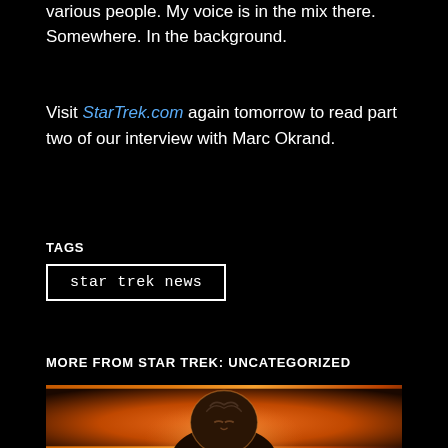various people. My voice is in the mix there. Somewhere. In the background.
Visit StarTrek.com again tomorrow to read part two of our interview with Marc Okrand.
TAGS
star trek news
MORE FROM STAR TREK: UNCATEGORIZED
[Figure (illustration): Animated character with a Klingon-like ridged head silhouetted against an orange and fiery background]